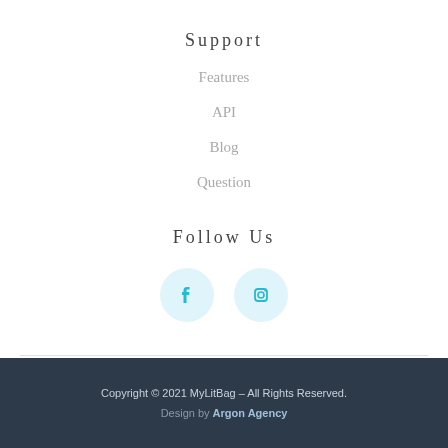Support
Features
API
Blog
Question
Follow Us
[Figure (illustration): Two social media icon circles: Facebook (f icon) and Instagram (camera icon), both with light blue circular backgrounds]
Copyright © 2021 MyLitBag – All Rights Reserved.
Design by Argon Agency